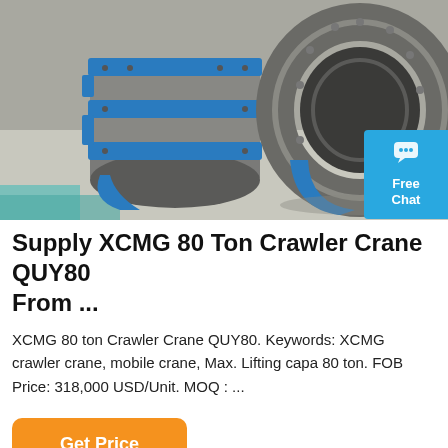[Figure (photo): Industrial crane brake drum/ring components — cylindrical metal parts with blue mounting hardware on a workshop floor surface]
Supply XCMG 80 Ton Crawler Crane QUY80 From ...
XCMG 80 ton Crawler Crane QUY80. Keywords: XCMG crawler crane, mobile crane, Max. Lifting capa 80 ton. FOB Price: 318,000 USD/Unit. MOQ : ...
Get Price